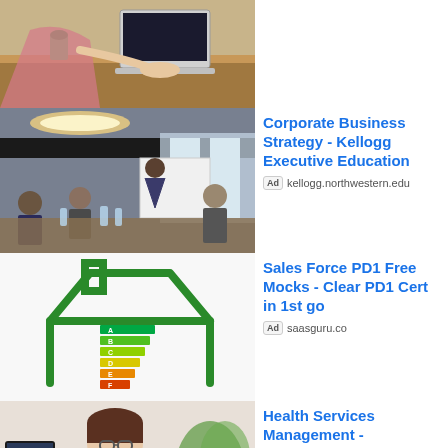[Figure (photo): Person working on laptop at a wooden desk, top portion visible]
[Figure (photo): Business meeting in a conference room, presenter at whiteboard]
Corporate Business Strategy - Kellogg Executive Education
Ad kellogg.northwestern.edu
[Figure (illustration): Green house outline with colorful energy rating bars inside]
Sales Force PD1 Free Mocks - Clear PD1 Cert in 1st go
Ad saasguru.co
[Figure (photo): Female doctor in white coat smiling, sitting at desk]
Health Services Management - Bachelor's of Science
Ad ekuonline.eku.edu